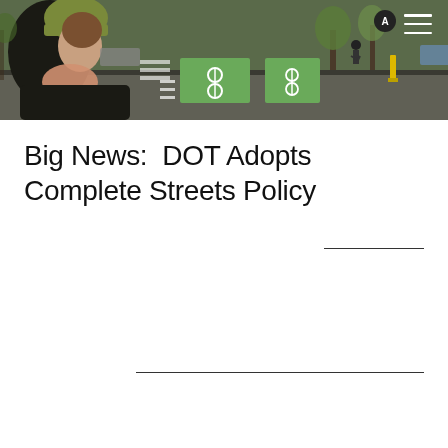[Figure (photo): Street-level photo showing a woman in a green bicycle helmet looking at a bike lane with green painted bicycle symbols at an urban intersection, with trees, parked cars, and pedestrians visible in the background.]
Big News:  DOT Adopts Complete Streets Policy